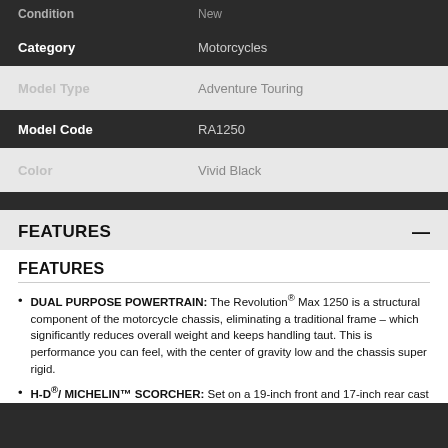| Condition | New |
| --- | --- |
| Category | Motorcycles |
| Model Type | Adventure Touring |
| Model Code | RA1250 |
| Color | Vivid Black |
FEATURES
FEATURES
DUAL PURPOSE POWERTRAIN: The Revolution® Max 1250 is a structural component of the motorcycle chassis, eliminating a traditional frame – which significantly reduces overall weight and keeps handling taut. This is performance you can feel, with the center of gravity low and the chassis super rigid.
H-D®/ MICHELIN™ SCORCHER: Set on a 19-inch front and 17-inch rear cast